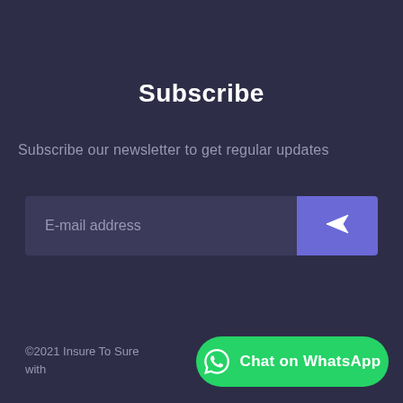Subscribe
Subscribe our newsletter to get regular updates
[Figure (screenshot): Email subscription form with an email address input field and a purple send button with a paper plane icon]
[Figure (infographic): Social media icons row: Facebook, Twitter, Instagram, LinkedIn (dark circles). Scroll-to-top button (light grey rounded square with up chevron).]
©2021 Insure To Sure with
[Figure (other): Green WhatsApp Chat button with WhatsApp logo and text 'Chat on WhatsApp']